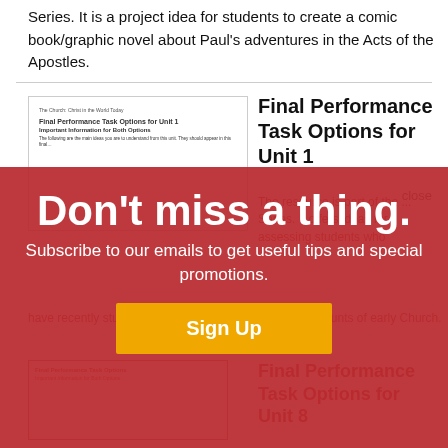Series. It is a project idea for students to create a comic book/graphic novel about Paul's adventures in the Acts of the Apostles.
[Figure (screenshot): Document thumbnail showing 'Final Performance Task Options for Unit 1' heading and 'Important Information for Both Options' subheading]
Final Performance Task Options for Unit 1
close
The resource is part of the ... Series. It offers ideas for assessing students who have recently studied the Church, and the scriptural accounts of early Church.
Don't miss a thing.
Subscribe to our emails to get useful tips and special promotions.
Sign Up
Final Performance Task Options for Unit 8